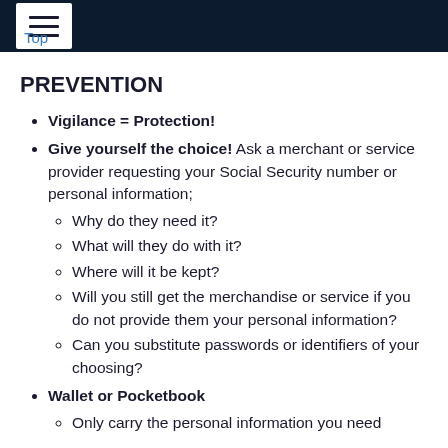Top
PREVENTION
Vigilance = Protection!
Give yourself the choice! Ask a merchant or service provider requesting your Social Security number or personal information;
Why do they need it?
What will they do with it?
Where will it be kept?
Will you still get the merchandise or service if you do not provide them your personal information?
Can you substitute passwords or identifiers of your choosing?
Wallet or Pocketbook
Only carry the personal information you need